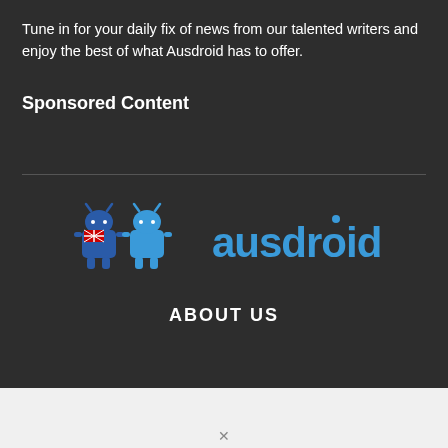Tune in for your daily fix of news from our talented writers and enjoy the best of what Ausdroid has to offer.
Sponsored Content
[Figure (logo): Ausdroid logo: two Android robot figures (one with Australian flag colors) beside the text 'ausdroid' in blue]
ABOUT US